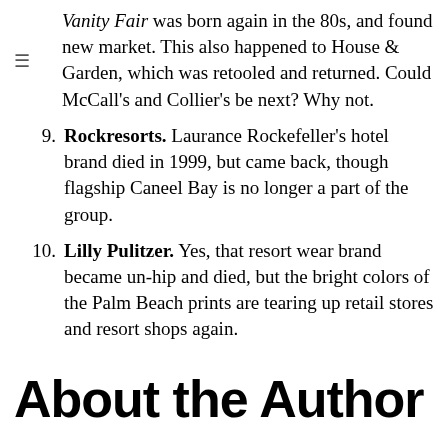Vanity Fair was born again in the 80s, and found new market. This also happened to House & Garden, which was retooled and returned. Could McCall's and Collier's be next? Why not.
9. Rockresorts. Laurance Rockefeller's hotel brand died in 1999, but came back, though flagship Caneel Bay is no longer a part of the group.
10. Lilly Pulitzer. Yes, that resort wear brand became un-hip and died, but the bright colors of the Palm Beach prints are tearing up retail stores and resort shops again.
About the Author